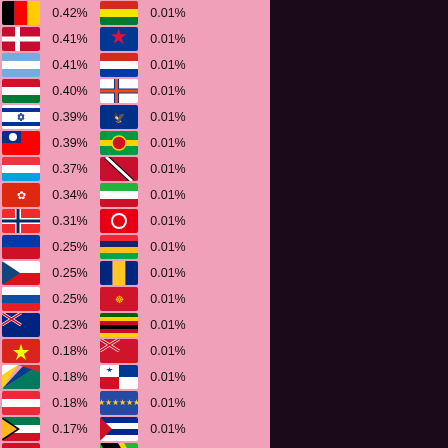| Flag | Percent | Flag | Percent |
| --- | --- | --- | --- |
| Belgium | 0.42% | Bolivia | 0.01% |
| Denmark | 0.41% | Nepal | 0.01% |
| Argentina | 0.41% | Paraguay | 0.01% |
| Israel/Other | 0.40% | Faroe Islands | 0.01% |
| Israel | 0.39% | US Virgin Islands | 0.01% |
| Taiwan | 0.39% | New Caledonia | 0.01% |
| Luxembourg | 0.37% | Trinidad and Tobago | 0.01% |
| Hong Kong | 0.34% | Uzbekistan | 0.01% |
| Norway | 0.31% | Tunisia | 0.01% |
| Philippines | 0.25% | Mauritius | 0.01% |
| Czech Republic | 0.25% | Barbados | 0.01% |
| Slovakia | 0.25% | Isle of Man | 0.01% |
| New Zealand | 0.23% | Zimbabwe | 0.01% |
| Vietnam | 0.18% | Bermuda | 0.01% |
| Seychelles | 0.18% | Panama | 0.01% |
| Austria | 0.18% | Kosovo | 0.01% |
| South Africa | 0.17% | Cuba | 0.01% |
| Egypt | 0.17% | Tanzania | 0.01% |
[Figure (illustration): Dark background with animated/illustrated character on the right side of the image]